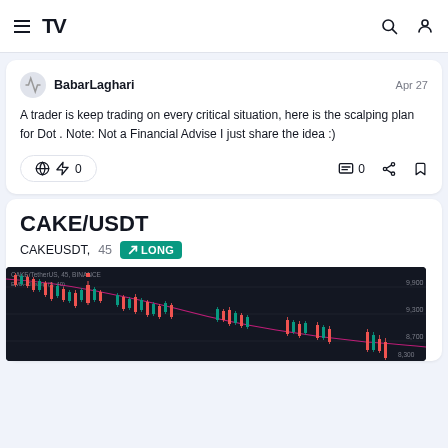TradingView navigation bar
BabarLaghari — Apr 27
A trader is keep trading on every critical situation, here is the scalping plan for Dot . Note: Not a Financial Advise I just share the idea :)
Boost: 0  Comments: 0
CAKE/USDT
CAKEUSDT, 45  LONG
[Figure (screenshot): Candlestick chart of CAKE/TetherUS on BINANCE 45-minute timeframe with EMA line, showing a downtrend with candles and a pink moving average curve. Price labels visible around 9,900, 9,000, and 8,300 USDT.]